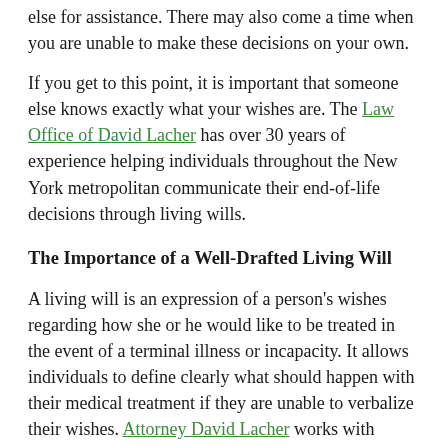else for assistance. There may also come a time when you are unable to make these decisions on your own.
If you get to this point, it is important that someone else knows exactly what your wishes are. The Law Office of David Lacher has over 30 years of experience helping individuals throughout the New York metropolitan communicate their end-of-life decisions through living wills.
The Importance of a Well-Drafted Living Will
A living will is an expression of a person's wishes regarding how she or he would like to be treated in the event of a terminal illness or incapacity. It allows individuals to define clearly what should happen with their medical treatment if they are unable to verbalize their wishes. Attorney David Lacher works with clients to address situations, including:
Use of a respirator or ventilator to prolong life